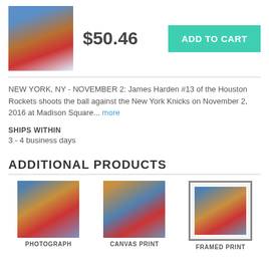[Figure (photo): Thumbnail of James Harden basketball photo]
$50.46
ADD TO CART
NEW YORK, NY - NOVEMBER 2: James Harden #13 of the Houston Rockets shoots the ball against the New York Knicks on November 2, 2016 at Madison Square... more
SHIPS WITHIN
3 - 4 business days
ADDITIONAL PRODUCTS
[Figure (photo): Photograph product thumbnail - James Harden basketball]
PHOTOGRAPH
[Figure (photo): Canvas print product thumbnail - James Harden basketball]
CANVAS PRINT
[Figure (photo): Framed print product thumbnail - James Harden basketball]
FRAMED PRINT